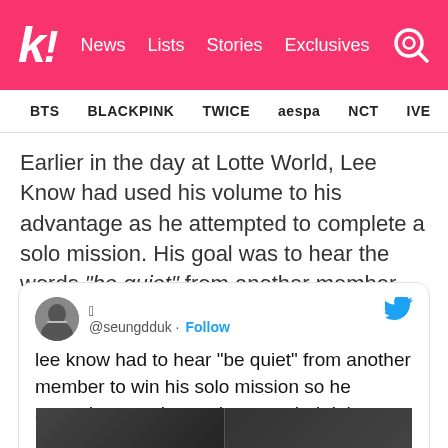k! News Lists Stories Exclusives
BTS BLACKPINK TWICE aespa NCT IVE ITZY
Earlier in the day at Lotte World, Lee Know had used his volume to his advantage as he attempted to complete a solo mission. His goal was to hear the words "be quiet" from another member. It's easy to see why he succeeded.
[Figure (screenshot): Tweet from @seungdduk: lee know had to hear "be quiet" from another member to win his solo mission so he started screaming and succeeded right away 🤣🤣🤣]
[Figure (photo): Bottom strip: two dark photos (likely video screenshots from the episode)]